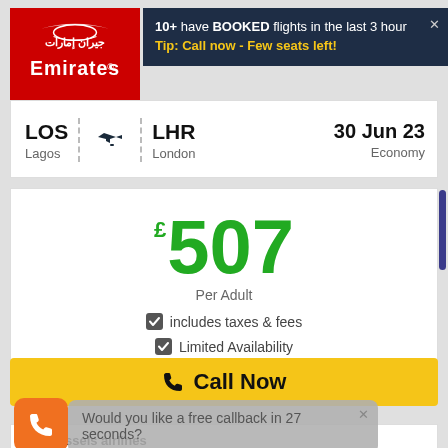[Figure (logo): Emirates airline logo – red background with white Arabic calligraphy and 'Emirates' text]
10+ have BOOKED flights in the last 3 hour
Tip: Call now - Few seats left!
LOS Lagos → LHR London   30 Jun 23  Economy
£507 Per Adult  ✓ includes taxes & fees  ✓ Limited Availability
✆  Call Now
Would you like a free callback in 27 seconds?
brussels airlines